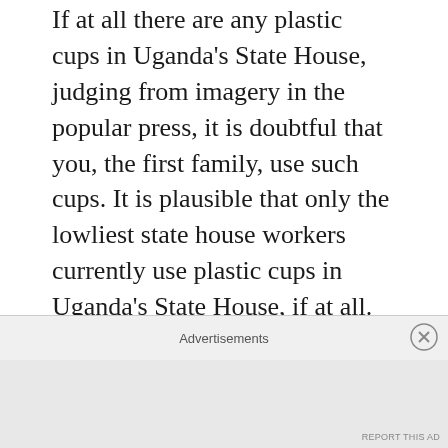If at all there are any plastic cups in Uganda's State House, judging from imagery in the popular press, it is doubtful that you, the first family, use such cups. It is plausible that only the lowliest state house workers currently use plastic cups in Uganda's State House, if at all. Certainly, photos of the interior of Uganda's State House by journalists erase any doubts that the furniture currently in State House is not made in Bwaise.
Mr. President, reality checks among Ugandans, including me, began to truly sink in during the 2000s as may be deduced from the fact that
Advertisements